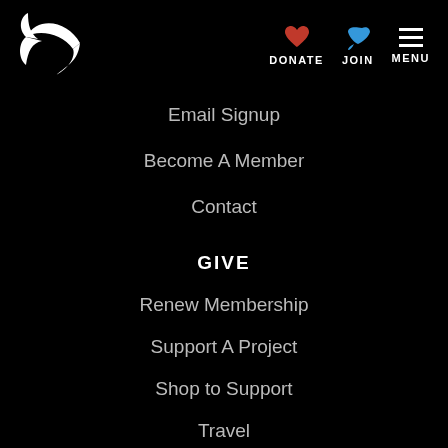[Figure (logo): White bird/swallow logo mark on black background]
DONATE | JOIN | MENU
Email Signup
Become A Member
Contact
GIVE
Renew Membership
Support A Project
Shop to Support
Travel
Other Ways to Give